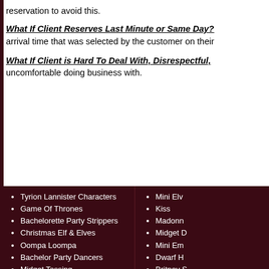reservation to avoid this.
What If Client Reserves Last Minute or Same Day?
arrival time that was selected by the customer on their
What If Client is Hard To Deal With, Disrespectful,
uncomfortable doing business with.
Tyrion Lannister Characters
Game Of Thrones
Bachelorette Party Strippers
Christmas Elf & Elves
Oompa Loompa
Bachelor Party Dancers
Midget Tossing
Midget Wrestling
Mini Elv
Kiss
Madonn
Midget D
Mini Em
Dwarf H
Britney S
Pranks